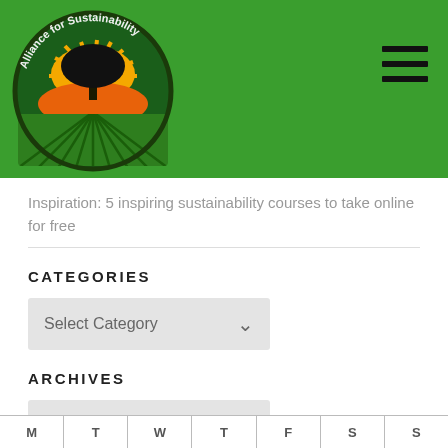[Figure (logo): Alliance for Sustainability circular logo with tree silhouette, orange sun rays, and green field rows]
Inspiration: 5 inspiring sustainability courses to take online for free
CATEGORIES
Select Category
ARCHIVES
Select Month
| M | T | W | T | F | S | S |
| --- | --- | --- | --- | --- | --- | --- |